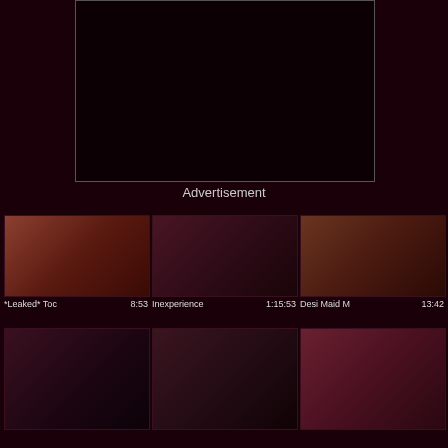[Figure (other): Advertisement placeholder box, dark background with border]
Advertisement
[Figure (photo): Thumbnail 1 - *Leaked* Too, duration 8:53]
[Figure (photo): Thumbnail 2 - Inexperience, duration 1:15:53]
[Figure (photo): Thumbnail 3 - Desi Maid M, duration 13:42]
[Figure (photo): Thumbnail 4 - partial view]
[Figure (photo): Thumbnail 5 - partial view]
[Figure (photo): Thumbnail 6 - partial view]